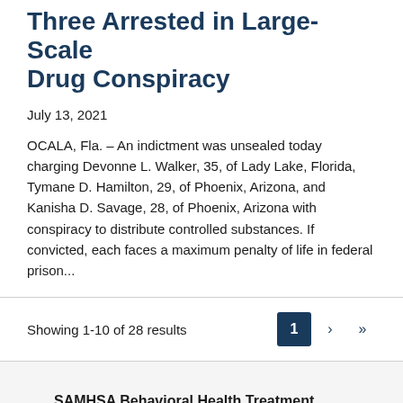Three Arrested in Large-Scale Drug Conspiracy
July 13, 2021
OCALA, Fla. – An indictment was unsealed today charging Devonne L. Walker, 35, of Lady Lake, Florida, Tymane D. Hamilton, 29, of Phoenix, Arizona, and Kanisha D. Savage, 28, of Phoenix, Arizona with conspiracy to distribute controlled substances. If convicted, each faces a maximum penalty of life in federal prison...
Showing 1-10 of 28 results
SAMHSA Behavioral Health Treatment Locator